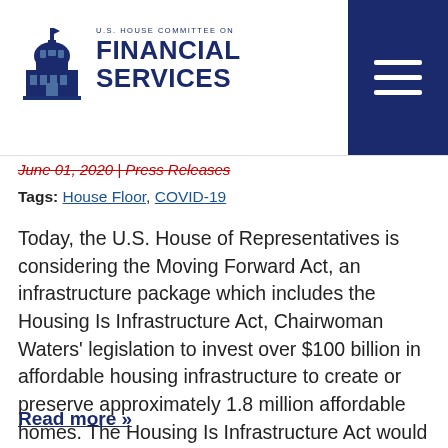U.S. House Committee on Financial Services
June 01, 2020 | Press Releases
Tags: House Floor, COVID-19
Today, the U.S. House of Representatives is considering the Moving Forward Act, an infrastructure package which includes the Housing Is Infrastructure Act, Chairwoman Waters' legislation to invest over $100 billion in affordable housing infrastructure to create or preserve approximately 1.8 million affordable homes. The Housing Is Infrastructure Act would make the following investments: $70 billio…
Read more »